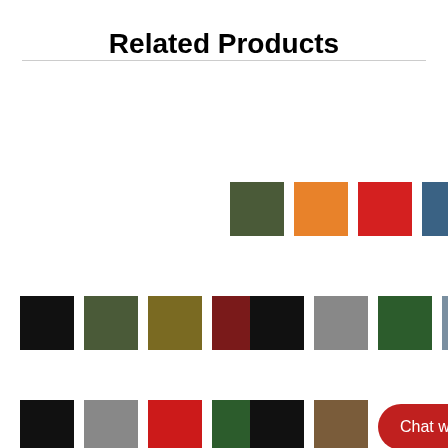Related Products
[Figure (infographic): Row of color swatches: dark olive green, orange, red, steel blue, followed by a vertical divider and a right arrow]
[Figure (infographic): Row of color swatches: black, dark green, olive/khaki, dark red, followed by a vertical divider and right arrow]
[Figure (infographic): Row of color swatches: black, gray, dark green, slate blue, followed by a vertical divider and right arrow]
[Figure (infographic): Row of color swatches: black, gray, red, dark green, followed by a vertical divider and right arrow]
[Figure (infographic): Row of color swatches: black, brownish, followed by Chat with us button and right arrow]